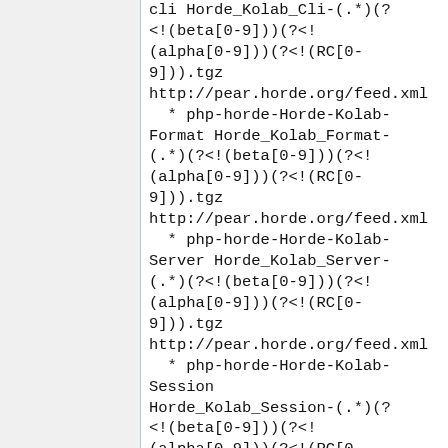cli Horde_Kolab_Cli-(.*)(?<!(beta[0-9]))(?<!(alpha[0-9]))(?<!(RC[0-9])).tgz http://pear.horde.org/feed.xml
  * php-horde-Horde-Kolab-Format Horde_Kolab_Format-(.*)(?<!(beta[0-9]))(?<!(alpha[0-9]))(?<!(RC[0-9])).tgz http://pear.horde.org/feed.xml
  * php-horde-Horde-Kolab-Server Horde_Kolab_Server-(.*)(?<!(beta[0-9]))(?<!(alpha[0-9]))(?<!(RC[0-9])).tgz http://pear.horde.org/feed.xml
  * php-horde-Horde-Kolab-Session Horde_Kolab_Session-(.*)(?<!(beta[0-9]))(?<!(alpha[0-9]))(?<!(RC[0-9])).tgz http://pear.horde.org/feed.xml
  * php-horde-Horde-Kolab-